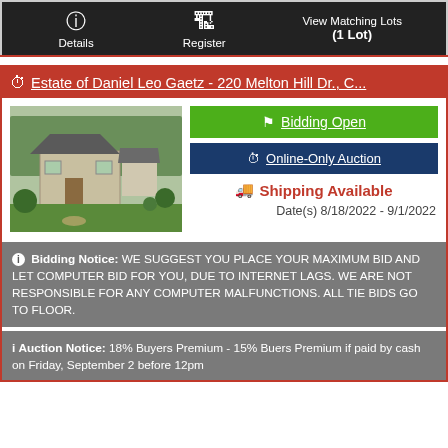Details   Register   View Matching Lots (1 Lot)
Estate of Daniel Leo Gaetz - 220 Melton Hill Dr., C...
[Figure (photo): Photo of a stone house with green lawn and trees]
Bidding Open
Online-Only Auction
Shipping Available
Date(s) 8/18/2022 - 9/1/2022
Bidding Notice: WE SUGGEST YOU PLACE YOUR MAXIMUM BID AND LET COMPUTER BID FOR YOU, DUE TO INTERNET LAGS. WE ARE NOT RESPONSIBLE FOR ANY COMPUTER MALFUNCTIONS. ALL TIE BIDS GO TO FLOOR.
Auction Notice: 18% Buyers Premium - 15% Buers Premium if paid by cash on Friday, September 2 before 12pm